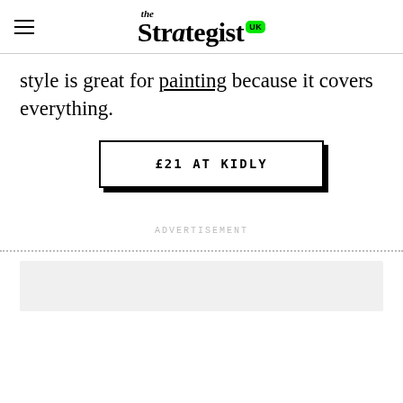the Strategist UK
style is great for painting because it covers everything.
£21 AT KIDLY
ADVERTISEMENT
[Figure (other): Gray placeholder box at bottom of page]